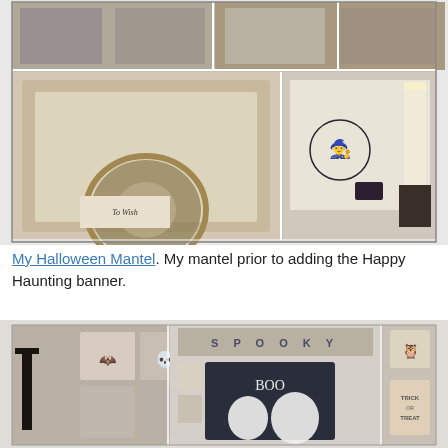[Figure (photo): Collage of Halloween mantel decoration photos showing vintage frames, a wreath, witch silhouette art, candles, and decorative accents with black crow/raven motifs]
My Halloween Mantel. My mantel prior to adding the Happy Haunting banner.
[Figure (photo): Halloween wall gallery photos showing framed artwork with skull, bat, and ghost silhouettes, SPOOKY banner, BOO chalkboard, and trick or treat sign]